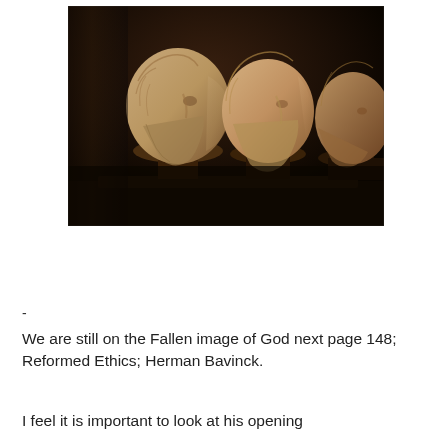[Figure (photo): Three marble busts of ancient Greek or Roman philosophers displayed in a row against a dark background, showing bearded figures in profile and three-quarter view.]
-
We are still on the Fallen image of God next page 148; Reformed Ethics; Herman Bavinck.
I feel it is important to look at his opening